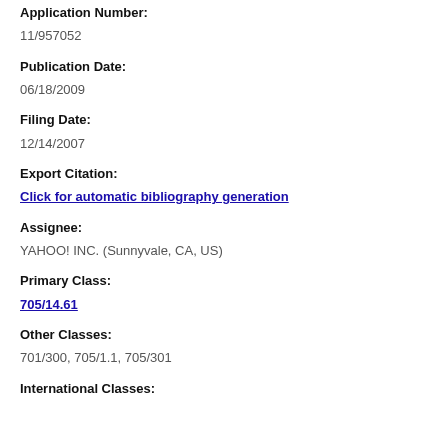Application Number:
11/957052
Publication Date:
06/18/2009
Filing Date:
12/14/2007
Export Citation:
Click for automatic bibliography generation
Assignee:
YAHOO! INC. (Sunnyvale, CA, US)
Primary Class:
705/14.61
Other Classes:
701/300, 705/1.1, 705/301
International Classes: